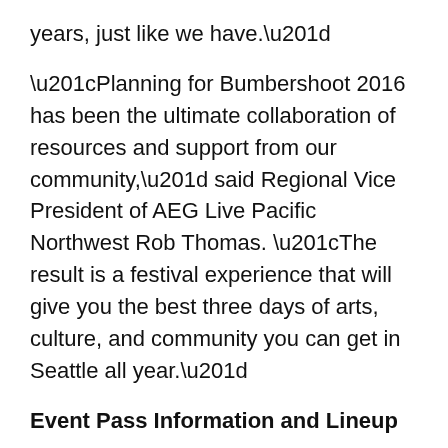years, just like we have.”
“Planning for Bumbershoot 2016 has been the ultimate collaboration of resources and support from our community,” said Regional Vice President of AEG Live Pacific Northwest Rob Thomas. “The result is a festival experience that will give you the best three days of arts, culture, and community you can get in Seattle all year.”
Event Pass Information and Lineup
Passes for Bumbershoot are now on sale:
3-Day Passes, starting at $180
Gold Passes, $400
Emerald VIP, $700